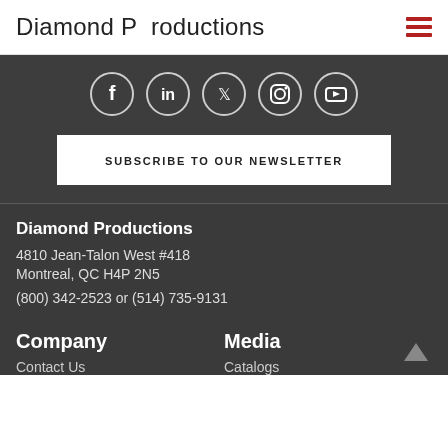Diamond Productions
[Figure (infographic): Social media icons: Facebook, LinkedIn, Twitter, Instagram, YouTube — white on dark circle backgrounds]
SUBSCRIBE TO OUR NEWSLETTER
Diamond Productions
4810 Jean-Talon West #418
Montreal, QC H4P 2N5
(800) 342-2523 or (514) 735-9131
Company
Media
Contact Us
Catalogs